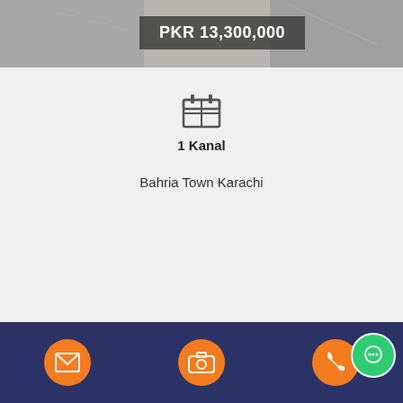[Figure (photo): Property listing header image showing interior/exterior view]
PKR 13,300,000
[Figure (illustration): Calendar/area icon representing plot size]
1 Kanal
Bahria Town Karachi
Added: 4 weeks before,  Total Views:   22
[Figure (infographic): Bottom navigation bar with email, camera, and phone icons on dark blue background, plus green chat bubble]